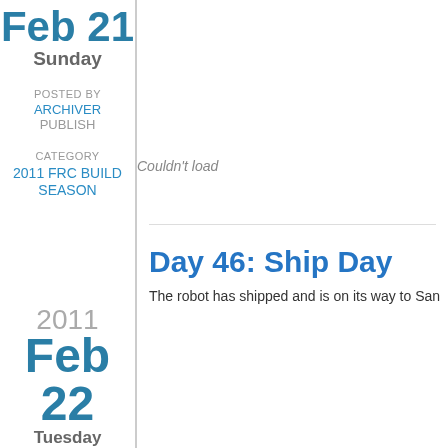Feb 21
Sunday
POSTED BY
ARCHIVER
PUBLISH
CATEGORY
2011 FRC BUILD SEASON
Couldn't load
Day 46: Ship Day
2011
Feb 22
Tuesday
The robot has shipped and is on its way to San